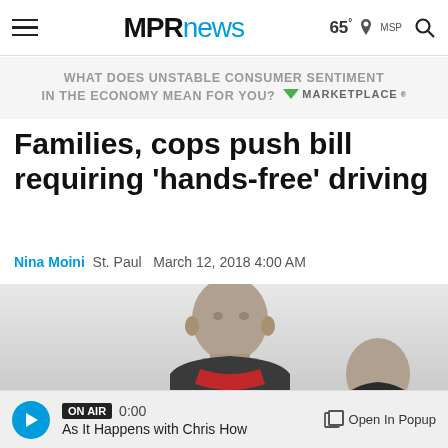MPRnews  65° MSP
[Figure (screenshot): Ad banner: WHAT DOES UNSTABLE CONSUMER SENTIMENT IN THE ECONOMY MEAN FOR YOU? MARKETPLACE]
Families, cops push bill requiring 'hands-free' driving
Nina Moini  St. Paul  March 12, 2018 4:00 AM
[Figure (photo): Two men photographed outdoors, one older man in foreground wearing a red scarf, another person partially visible to the right, against a light grey/white background.]
ON AIR 0:00 As It Happens with Chris How  Open In Popup